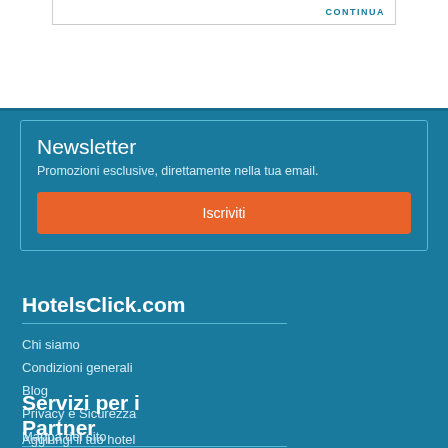CONTINUA
Newsletter
Promozioni esclusive, direttamente nella tua email.
Iscriviti
HotelsClick.com
Chi siamo
Condizioni generali
Blog
Privacy e Sicurezza
Mappa del sito
Servizi per i Partner
Aggiungi il tuo hotel